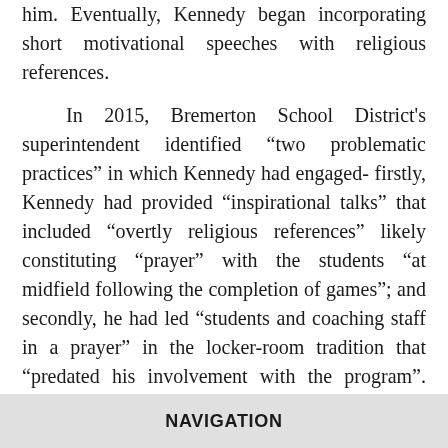him. Eventually, Kennedy began incorporating short motivational speeches with religious references.
In 2015, Bremerton School District's superintendent identified "two problematic practices" in which Kennedy had engaged- firstly, Kennedy had provided "inspirational talks" that included "overtly religious references" likely constituting "prayer" with the students "at midfield following the completion of games"; and secondly, he had led "students and coaching staff in a prayer" in the locker-room tradition that "predated his involvement with the program". Kennedy was directed to keep his practice as "non-demonstrative" as possible, which led to Kennedy ending his locker-room prayer with the players and his practice of incorporating religious references into his post-game motivational talks. Kennedy further felt pressured to abandon his practice of saying his own
NAVIGATION